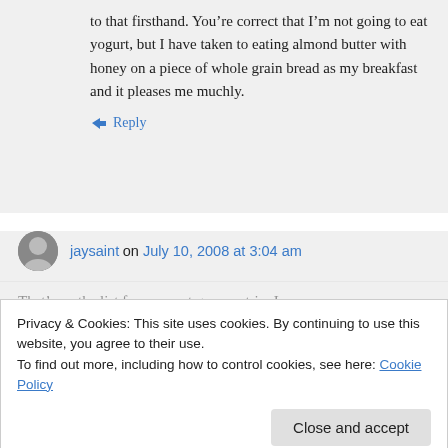to that firsthand. You’re correct that I’m not going to eat yogurt, but I have taken to eating almond butter with honey on a piece of whole grain bread as my breakfast and it pleases me muchly.
↳ Reply
jaysaint on July 10, 2008 at 3:04 am
Privacy & Cookies: This site uses cookies. By continuing to use this website, you agree to their use.
To find out more, including how to control cookies, see here: Cookie Policy
Close and accept
eating almond butter with honey on a piece